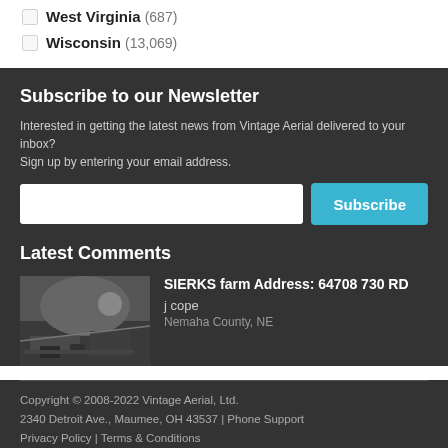West Virginia (687)
Wisconsin (13,069)
Subscribe to our Newsletter
Interested in getting the latest news from Vintage Aerial delivered to your inbox? Sign up by entering your email address.
Latest Comments
SIERKS farm Address: 64708 730 RD
j cope
Nemaha County, NE
Copyright © 2008-2022 Vintage Aerial, Ltd.
2340 Detroit Ave., Maumee, OH 43537 | Phone Support
Privacy Policy | Terms & Conditions
Back Office Sign In